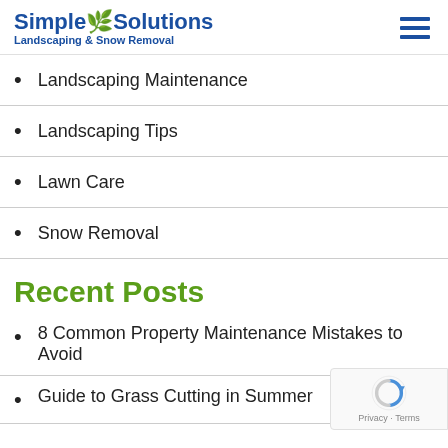Simple Solutions Landscaping & Snow Removal
Landscaping Maintenance
Landscaping Tips
Lawn Care
Snow Removal
Recent Posts
8 Common Property Maintenance Mistakes to Avoid
Guide to Grass Cutting in Summer